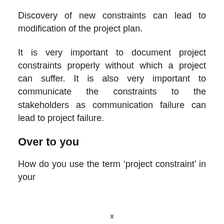Discovery of new constraints can lead to modification of the project plan.
It is very important to document project constraints properly without which a project can suffer. It is also very important to communicate the constraints to the stakeholders as communication failure can lead to project failure.
Over to you
How do you use the term ‘project constraint’ in your
x